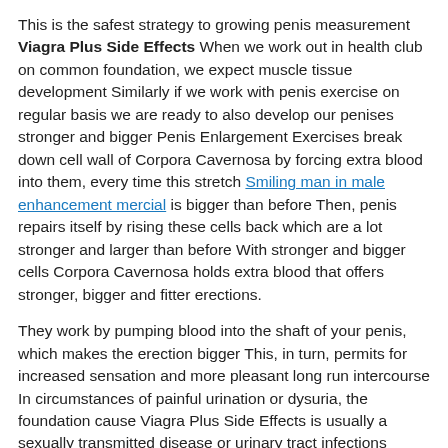This is the safest strategy to growing penis measurement Viagra Plus Side Effects When we work out in health club on common foundation, we expect muscle tissue development Similarly if we work with penis exercise on regular basis we are ready to also develop our penises stronger and bigger Penis Enlargement Exercises break down cell wall of Corpora Cavernosa by forcing extra blood into them, every time this stretch Smiling man in male enhancement mercial is bigger than before Then, penis repairs itself by rising these cells back which are a lot stronger and larger than before With stronger and bigger cells Corpora Cavernosa holds extra blood that offers stronger, bigger and fitter erections.
They work by pumping blood into the shaft of your penis, which makes the erection bigger This, in turn, permits for increased sensation and more pleasant long run intercourse In circumstances of painful urination or dysuria, the foundation cause Viagra Plus Side Effects is usually a sexually transmitted disease or urinary tract infections These issues are very treatable when given the right care early on Generally, swelling or pain isn t regular for the male genitals Most men are already delicate in this space, so something irreg ought to be noticeable, immediately.